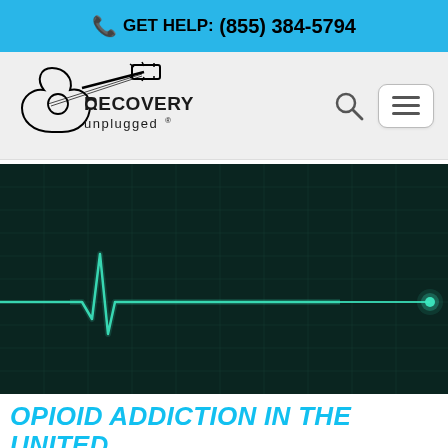GET HELP: (855) 384-5794
[Figure (logo): Recovery Unplugged logo with guitar silhouette]
[Figure (photo): Dark teal ECG/heartbeat monitor screen showing a flatline with one spike, suggestive of cardiac/overdose imagery]
OPIOID ADDICTION IN THE UNITED